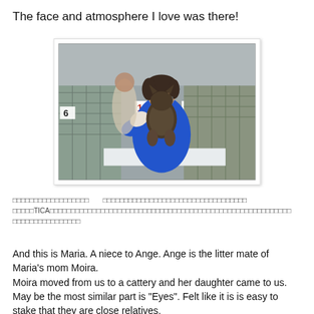The face and atmosphere I love was there!
[Figure (photo): A woman in a blue top holding a large fluffy dark cat at what appears to be a cat show. Numbered placards (108, 110, 118) visible in the background, with cages along the wall.]
Japanese text describing the event and TICA cat show details.
And this is Maria. A niece to Ange. Ange is the litter mate of Maria's mom Moira.
Moira moved from us to a cattery and her daughter came to us. May be the most similar part is "Eyes". Felt like it is is easy to stake that they are close relatives.